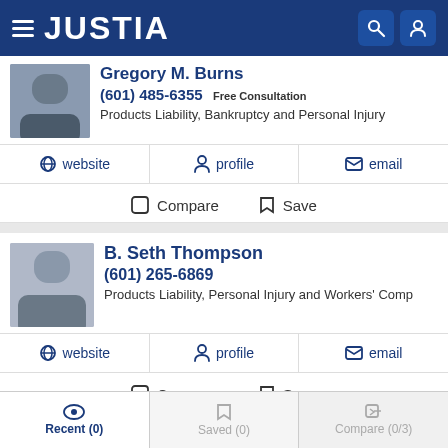JUSTIA
Gregory M. Burns
(601) 485-6355 Free Consultation
Products Liability, Bankruptcy and Personal Injury
website | profile | email
Compare | Save
B. Seth Thompson
(601) 265-6869
Products Liability, Personal Injury and Workers' Comp
website | profile | email
Compare | Save
Recent (0) | Saved (0) | Compare (0/3)